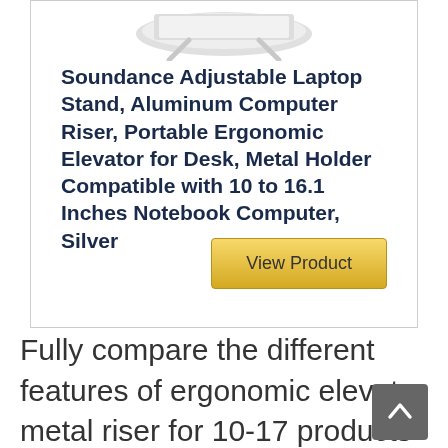[Figure (photo): Partial view of a silver laptop stand product image at the top of a product card]
Soundance Adjustable Laptop Stand, Aluminum Computer Riser, Portable Ergonomic Elevator for Desk, Metal Holder Compatible with 10 to 16.1 Inches Notebook Computer, Silver
View Product
Fully compare the different features of ergonomic elevator metal riser for 10-17 products